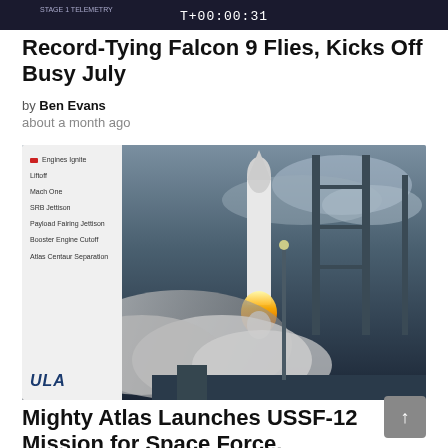[Figure (screenshot): Dark top bar showing a countdown timer reading T+00:00:31 with additional small text]
Record-Tying Falcon 9 Flies, Kicks Off Busy July
by Ben Evans
about a month ago
[Figure (photo): A ULA rocket launching with large smoke clouds and a bright flame, at dusk with launch towers visible. Left panel shows ULA mission timeline events with a red indicator and the ULA logo at bottom.]
Mighty Atlas Launches USSF-12 Mission for Space Force, Department of Defense